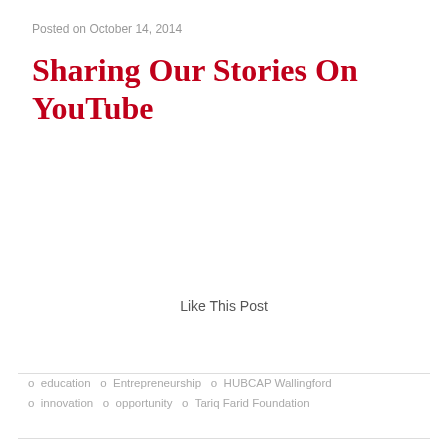Posted on October 14, 2014
Sharing Our Stories On YouTube
Like This Post
[Figure (illustration): A heart icon inside a light gray circle with the number 0 below it, representing a like/favorite button with zero likes.]
o  education  o  Entrepreneurship  o  HUBCAP Wallingford  o  innovation  o  opportunity  o  Tariq Farid Foundation